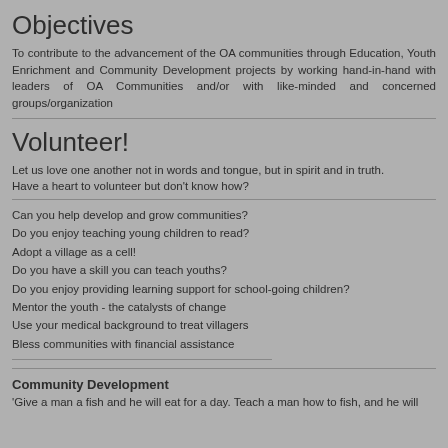Objectives
To contribute to the advancement of the OA communities through Education, Youth Enrichment and Community Development projects by working hand-in-hand with leaders of OA Communities and/or with like-minded and concerned groups/organization
Volunteer!
Let us love one another not in words and tongue, but in spirit and in truth.
Have a heart to volunteer but don't know how?
Can you help develop and grow communities?
Do you enjoy teaching young children to read?
Adopt a village as a cell!
Do you have a skill you can teach youths?
Do you enjoy providing learning support for school-going children?
Mentor the youth - the catalysts of change
Use your medical background to treat villagers
Bless communities with financial assistance
Community Development
'Give a man a fish and he will eat for a day. Teach a man how to fish, and he will